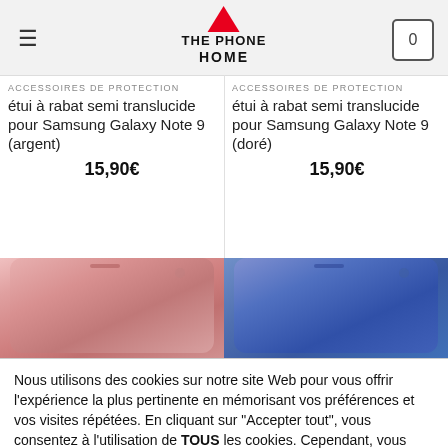[Figure (screenshot): The Phone Home website header with hamburger menu, red triangle logo, THE PHONE HOME text, and shopping cart icon showing 0]
ACCESSOIRES DE PROTECTION
étui à rabat semi translucide pour Samsung Galaxy Note 9 (argent)
15,90€
ACCESSOIRES DE PROTECTION
étui à rabat semi translucide pour Samsung Galaxy Note 9 (doré)
15,90€
[Figure (photo): Rose/pink phone case for Samsung Galaxy Note 9]
[Figure (photo): Blue phone case for Samsung Galaxy Note 9]
Nous utilisons des cookies sur notre site Web pour vous offrir l'expérience la plus pertinente en mémorisant vos préférences et vos visites répétées. En cliquant sur "Accepter tout", vous consentez à l'utilisation de TOUS les cookies. Cependant, vous pouvez visiter "Paramètres des cookies" pour fournir un consentement contrôlé.
Réglages Cookie
Tout accepter